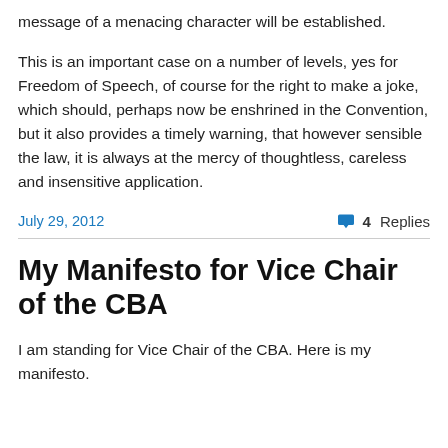message of a menacing character will be established.
This is an important case on a number of levels, yes for Freedom of Speech, of course for the right to make a joke, which should, perhaps now be enshrined in the Convention, but it also provides a timely warning, that however sensible the law, it is always at the mercy of thoughtless, careless and insensitive application.
July 29, 2012
4 Replies
My Manifesto for Vice Chair of the CBA
I am standing for Vice Chair of the CBA. Here is my manifesto.